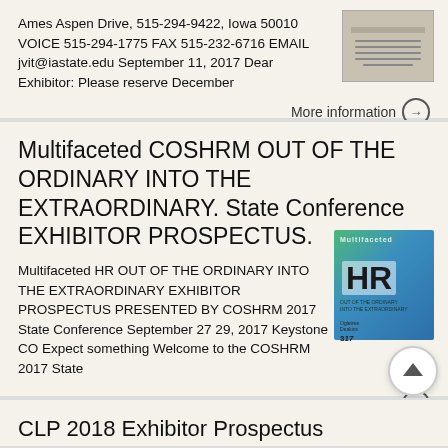Ames Aspen Drive, 515-294-9422, Iowa 50010 VOICE 515-294-1775 FAX 515-232-6716 EMAIL jvit@iastate.edu September 11, 2017 Dear Exhibitor: Please reserve December
More information →
Multifaceted COSHRM OUT OF THE ORDINARY INTO THE EXTRAORDINARY. State Conference EXHIBITOR PROSPECTUS.
Multifaceted HR OUT OF THE ORDINARY INTO THE EXTRAORDINARY EXHIBITOR PROSPECTUS PRESENTED BY COSHRM 2017 State Conference September 27 29, 2017 Keystone CO Expect something Welcome to the COSHRM 2017 State
[Figure (illustration): Thumbnail image of a document with horizontal lines]
[Figure (illustration): Green and blue gradient cover image with 'HR' text in large bold letters and subtitle text about COSHRM 2017 State Conference]
More information →
CLP 2018 Exhibitor Prospectus